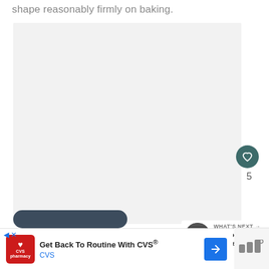shape reasonably firmly on baking.
[Figure (photo): Large light gray rectangular image placeholder area]
5
WHAT'S NEXT → Chocolate Crinkle...
Get Back To Routine With CVS® CVS